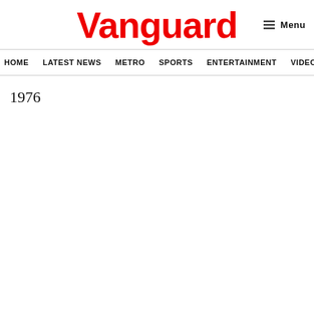Vanguard
Menu
HOME  LATEST NEWS  METRO  SPORTS  ENTERTAINMENT  VIDEOS
1976